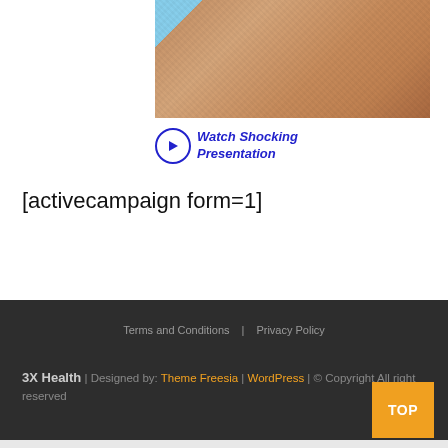[Figure (photo): Close-up photo of a person's forearm/wrist area with skin texture visible, partial sleeve of a light blue shirt visible at the edge]
[Figure (infographic): Call-to-action button with blue arrow in a circle next to italic bold blue text reading 'Watch Shocking Presentation']
[activecampaign form=1]
Terms and Conditions | Privacy Policy
3X Health | Designed by: Theme Freesia | WordPress | © Copyright All right reserved
TOP